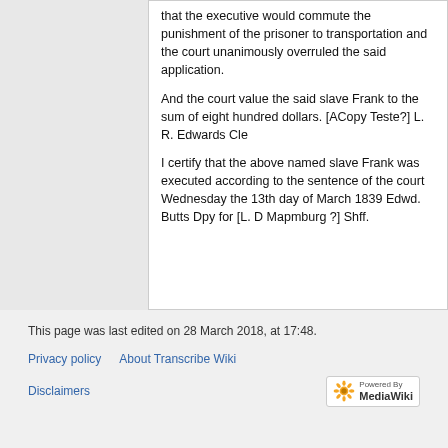that the executive would commute the punishment of the prisoner to transportation and the court unanimously overruled the said application.
And the court value the said slave Frank to the sum of eight hundred dollars. [ACopy Teste?] L. R. Edwards Cle
I certify that the above named slave Frank was executed according to the sentence of the court Wednesday the 13th day of March 1839 Edwd. Butts Dpy for [L. D Mapmburg ?] Shff.
This page was last edited on 28 March 2018, at 17:48.
Privacy policy   About Transcribe Wiki   Disclaimers